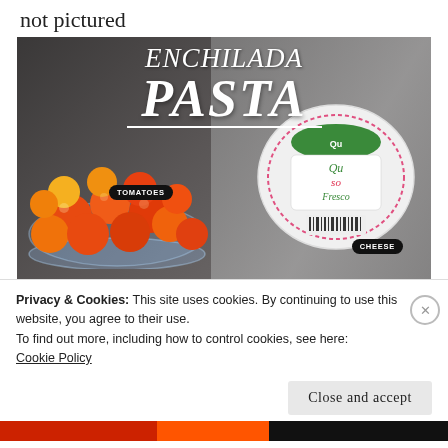not pictured
[Figure (photo): Photo of Enchilada Pasta ingredients including cherry tomatoes in a glass bowl and a package of Queso Fresco cheese on a dark granite surface, with TOMATOES and CHEESE labels overlaid, and the title ENCHILADA PASTA in large italic white text at the top of the image.]
Privacy & Cookies: This site uses cookies. By continuing to use this website, you agree to their use.
To find out more, including how to control cookies, see here:
Cookie Policy
Close and accept